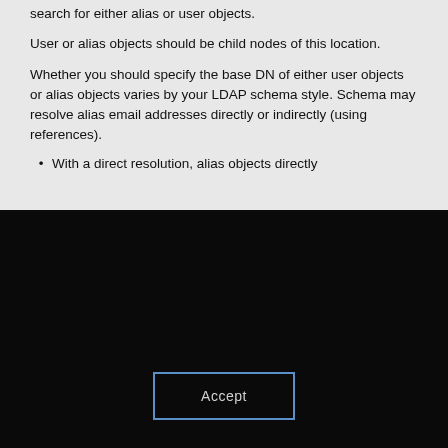search for either alias or user objects.
User or alias objects should be child nodes of this location.
Whether you should specify the base DN of either user objects or alias objects varies by your LDAP schema style. Schema may resolve alias email addresses directly or indirectly (using references).
With a direct resolution, alias objects directly
This site uses cookies. Some are essential to the operation of the site; others help us improve the user experience. By continuing to use the site, you consent to the use of these cookies. To learn more about cookies, please read our privacy policy.